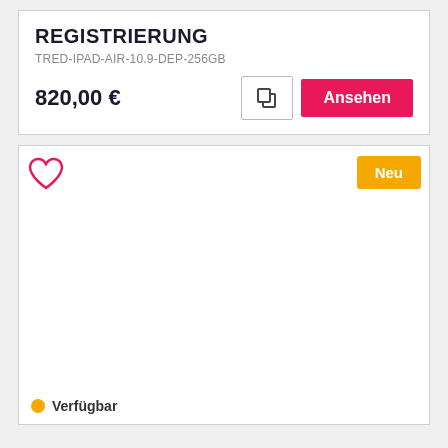REGISTRIERUNG
TRED-IPAD-AIR-10.9-DEP-256GB
820,00 €
[Figure (screenshot): Card with heart icon (favorite), 'Neu' badge, and 'Verfügbar' availability indicator]
Verfügbar